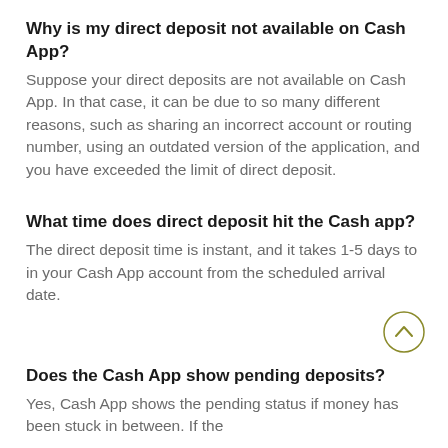Why is my direct deposit not available on Cash App?
Suppose your direct deposits are not available on Cash App. In that case, it can be due to so many different reasons, such as sharing an incorrect account or routing number, using an outdated version of the application, and you have exceeded the limit of direct deposit.
What time does direct deposit hit the Cash app?
The direct deposit time is instant, and it takes 1-5 days to in your Cash App account from the scheduled arrival date.
Does the Cash App show pending deposits?
Yes, Cash App shows the pending status if money has been stuck in between. If the